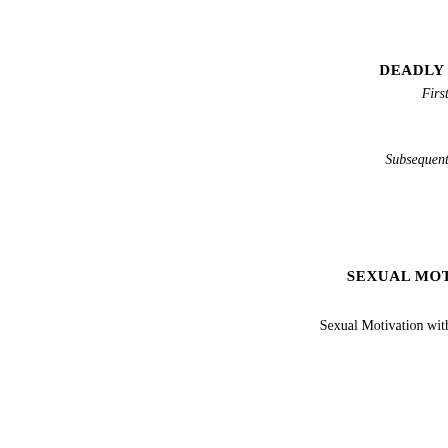DEADLY WEAPON
First Deadly W
Subsequent Deadly W
SEXUAL MOTIVATION
First Sex
Sexual Motivation with Prior Sex